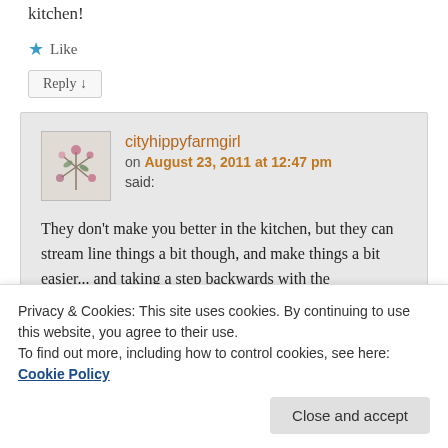kitchen!
★ Like
Reply ↓
cityhippyfarmgirl on August 23, 2011 at 12:47 pm said:
They don't make you better in the kitchen, but they can stream line things a bit though, and make things a bit easier... and taking a step backwards with the
Privacy & Cookies: This site uses cookies. By continuing to use this website, you agree to their use.
To find out more, including how to control cookies, see here: Cookie Policy
Close and accept